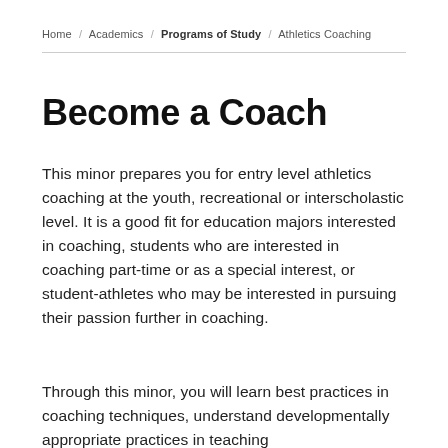Home / Academics / Programs of Study / Athletics Coaching
Become a Coach
This minor prepares you for entry level athletics coaching at the youth, recreational or interscholastic level. It is a good fit for education majors interested in coaching, students who are interested in coaching part-time or as a special interest, or student-athletes who may be interested in pursuing their passion further in coaching.
Through this minor, you will learn best practices in coaching techniques, understand developmentally appropriate practices in teaching